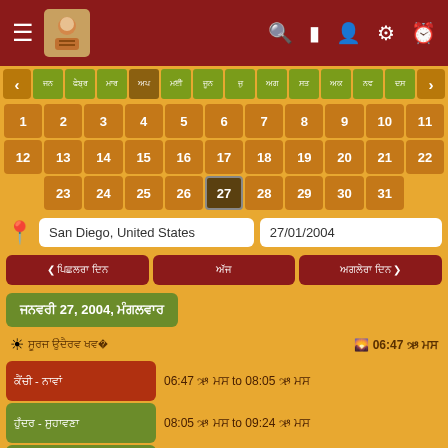App top navigation bar with hamburger menu, logo, search, and settings icons
Calendar navigation with month buttons
Calendar days 1-31, date 27 selected
Location: San Diego, United States | Date: 27/01/2004
Navigation buttons: previous, current, next
January 27, 2004, Tuesday
Sunrise information: 06:47 A.M.
Period 1 - Red: 06:47 A.M. to 08:05 A.M.
Period 2 - Green: 08:05 A.M. to 09:24 A.M.
Period 3 - Green: 09:24 A.M. to 10:43 A.M.